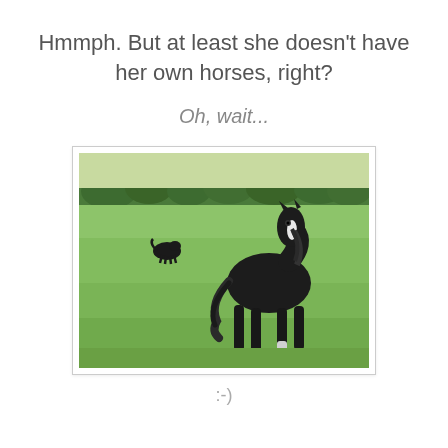Hmmph. But at least she doesn't have her own horses, right?
Oh, wait...
[Figure (photo): A black horse running across a green grassy field toward the viewer, with another smaller black horse visible in the background, and trees on the horizon.]
:-)